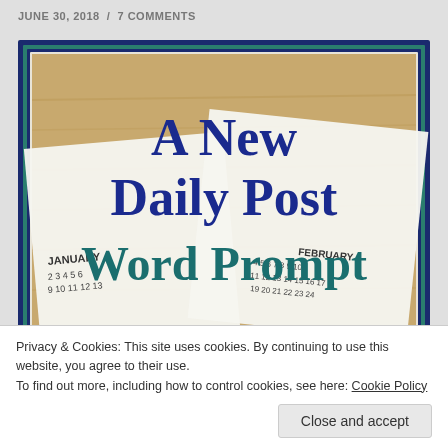JUNE 30, 2018 / 7 COMMENTS
[Figure (illustration): Promotional graphic with text 'A New Daily Post Word Prompt' overlaid on a photo of calendar pages on a wooden surface, with a decorative blue and teal border]
Privacy & Cookies: This site uses cookies. By continuing to use this website, you agree to their use.
To find out more, including how to control cookies, see here: Cookie Policy
Close and accept